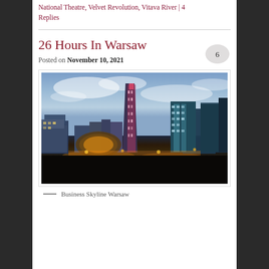National Theatre, Velvet Revolution, Vitava River | 4 Replies
26 Hours In Warsaw
Posted on November 10, 2021
[Figure (photo): Aerial view of Warsaw business skyline at dusk/evening, showing illuminated skyscrapers including a prominent curved glass tower in the center, with city streets and buildings lit up below a dramatic cloudy sunset sky.]
— Business Skyline Warsaw